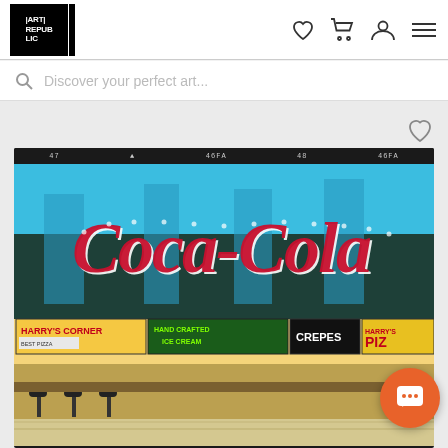[Figure (logo): Art Republic logo — black square with white text reading ART REPUBLIC in bold]
[Figure (screenshot): Website header with Art Republic logo on the left and navigation icons (heart, cart, user, menu) on the right]
Discover your perfect art...
[Figure (photo): Photograph of a large Coca-Cola neon sign above a row of food stands including Harry's Corner, Hand Crafted Ice Cream, Crepes, and Harry's Piz(za). Film strip frame marks visible at top. Colorful street food market scene with bright blue sky.]